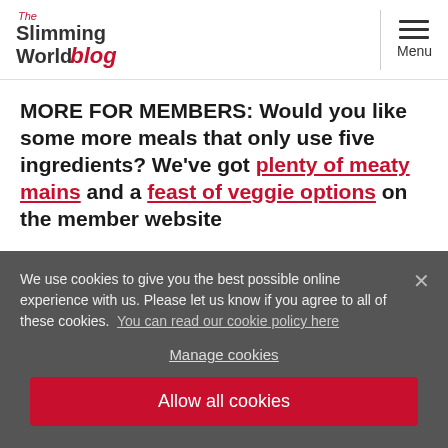The Slimming World blog — Menu
MORE FOR MEMBERS: Would you like some more meals that only use five ingredients? We've got plenty of meaty mains and a feast of veggie options on the member website
We use cookies to give you the best possible online experience with us. Please let us know if you agree to all of these cookies. You can read our cookie policy here
Manage cookies
Allow all cookies